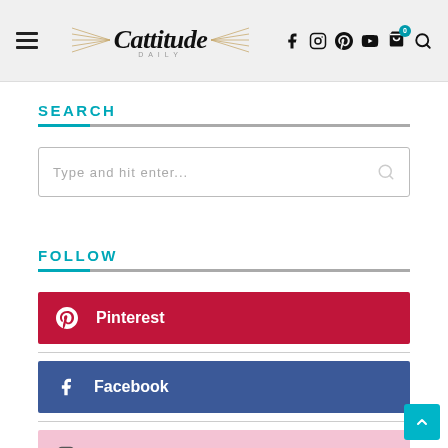Cattitude Daily — site header with hamburger menu, logo, and social/nav icons (Facebook, Instagram, Pinterest, YouTube, Cart, Search)
SEARCH
Type and hit enter...
FOLLOW
Pinterest
Facebook
Instagram